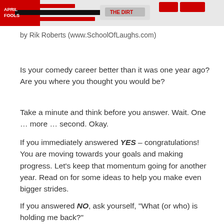[Figure (screenshot): Header banner image with red and black text/logo for a comedy-related publication or website]
by Rik Roberts (www.SchoolOfLaughs.com)
Is your comedy career better than it was one year ago? Are you where you thought you would be?
Take a minute and think before you answer. Wait. One … more … second. Okay.
If you immediately answered YES – congratulations! You are moving towards your goals and making progress. Let's keep that momentum going for another year. Read on for some ideas to help you make even bigger strides.
If you answered NO, ask yourself, "What (or who) is holding me back?"